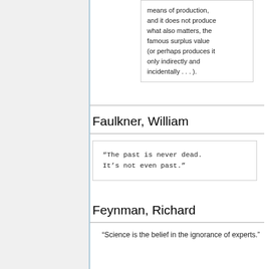means of production, and it does not produce what also matters, the famous surplus value (or perhaps produces it only indirectly and incidentally . . . ).
Faulkner, William
“The past is never dead. It’s not even past.”
Feynman, Richard
"Science is the belief in the ignorance of experts."